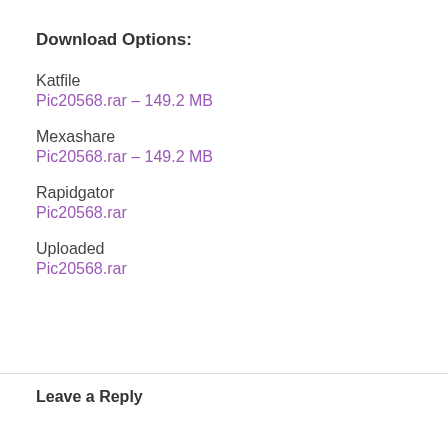Download Options:
Katfile
Pic20568.rar – 149.2 MB
Mexashare
Pic20568.rar – 149.2 MB
Rapidgator
Pic20568.rar
Uploaded
Pic20568.rar
Leave a Reply